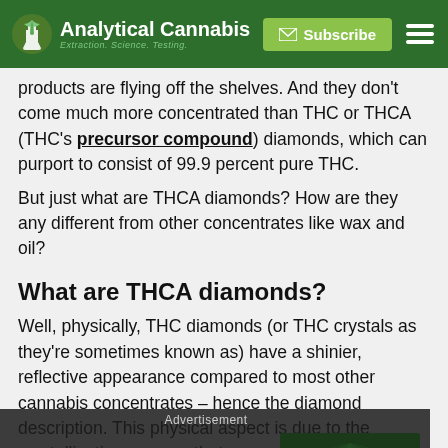Analytical Cannabis — Extraction. Science. Testing.
products are flying off the shelves. And they don't come much more concentrated than THC or THCA (THC's precursor compound) diamonds, which can purport to consist of 99.9 percent pure THC.
But just what are THCA diamonds? How are they any different from other concentrates like wax and oil?
What are THCA diamonds?
Well, physically, THC diamonds (or THC crystals as they're sometimes known as) have a shinier, reflective appearance compared to most other cannabis concentrates – hence the diamond description. This physical aspect is due to the crystallization process that occurs
To feel their strong effect, consumers will often dab their
[Figure (screenshot): Advertisement overlay: 'Would you like to speak at an Analytical Cannabis online event?' with a Submit Your Abstract button over a cannabis leaf background image.]